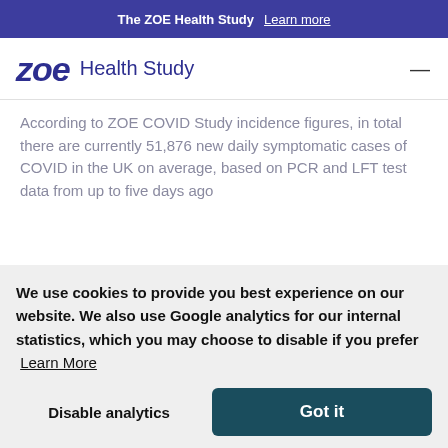The ZOE Health Study  Learn more
ZOE Health Study
According to ZOE COVID Study incidence figures, in total there are currently 51,876 new daily symptomatic cases of COVID in the UK on average, based on PCR and LFT test data from up to five days ago
We use cookies to provide you best experience on our website. We also use Google analytics for our internal statistics, which you may choose to disable if you prefer  Learn More
Disable analytics
Got it